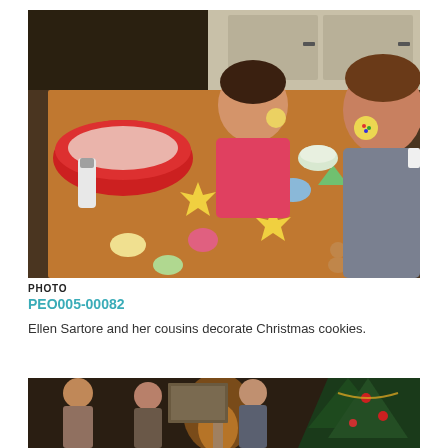[Figure (photo): Two girls sitting at a kitchen table laughing and decorating Christmas cookies. The table is covered with colorful frosted cookies in holiday shapes. There are bowls of frosting, a red mixing bowl, and various baking supplies on the table.]
PHOTO
PEO005-00082
Ellen Sartore and her cousins decorate Christmas cookies.
[Figure (photo): A partially visible photo showing people sitting in a room with a decorated Christmas tree on the right side. A lamp glows warmly in the background.]